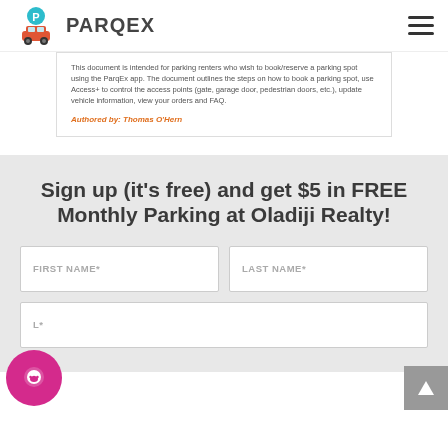PARQEX
This document is intended for parking renters who wish to book/reserve a parking spot using the ParqEx app. The document outlines the steps on how to book a parking spot, use Access+ to control the access points (gate, garage door, pedestrian doors, etc.), update vehicle information, view your orders and FAQ.
Authored by: Thomas O'Hern
Sign up (it's free) and get $5 in FREE Monthly Parking at Oladiji Realty!